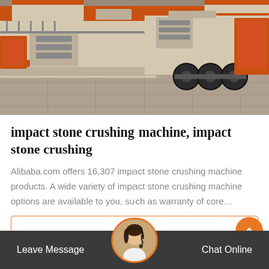[Figure (photo): Large industrial mobile impact stone crushing machine on a concrete surface, showing machinery with orange and beige colors, large tires and conveyor structures.]
impact stone crushing machine, impact stone crushing
Alibaba.com offers 16,307 impact stone crushing machine products. A wide variety of impact stone crushing machine options are available to you, such as warranty of core…
Get Price
Leave Message   Chat Online